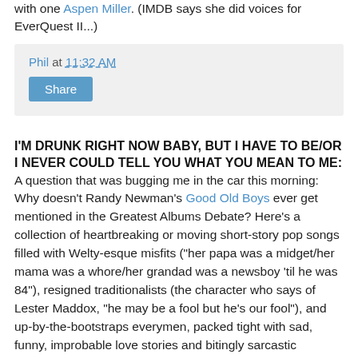with one Aspen Miller. (IMDB says she did voices for EverQuest II...)
Phil at 11:32 AM
Share
I'M DRUNK RIGHT NOW BABY, BUT I HAVE TO BE/OR I NEVER COULD TELL YOU WHAT YOU MEAN TO ME:
A question that was bugging me in the car this morning: Why doesn't Randy Newman's Good Old Boys ever get mentioned in the Greatest Albums Debate? Here's a collection of heartbreaking or moving short-story pop songs filled with Welty-esque misfits ("her papa was a midget/her mama was a whore/her grandad was a newsboy 'til he was 84"), resigned traditionalists (the character who says of Lester Maddox, "he may be a fool but he's our fool"), and up-by-the-bootstraps everymen, packed tight with sad, funny, improbable love stories and bitingly sarcastic commentary on racial, social, and geographic politics, oganized around two